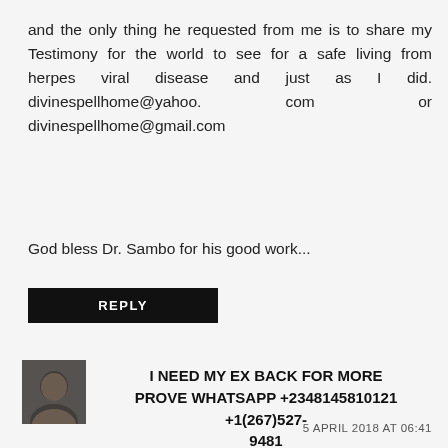and the only thing he requested from me is to share my Testimony for the world to see for a safe living from herpes viral disease and just as I did. divinespellhome@yahoo.                    com                  or divinespellhome@gmail.com
God bless Dr. Sambo for his good work...
REPLY
[Figure (photo): Small avatar photo of a person sitting in a car]
I NEED MY EX BACK FOR MORE PROVE WHATSAPP +2348145810121 +1(267)527-9481
5 APRIL 2018 AT 06:41